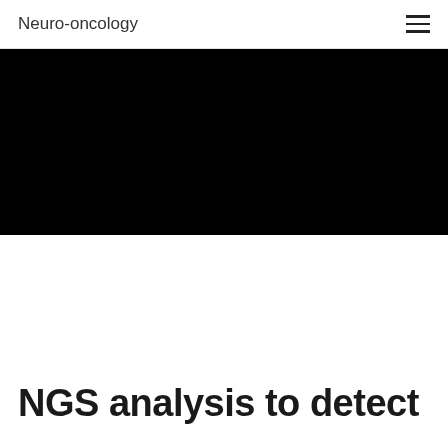Neuro-oncology
[Figure (photo): Black banner image area, fully dark/black, likely a hero image placeholder or video thumbnail]
NGS analysis to detect